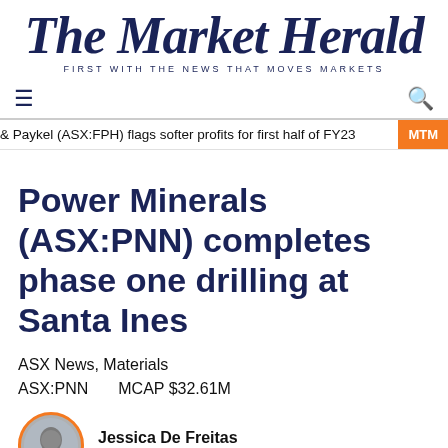The Market Herald
FIRST WITH THE NEWS THAT MOVES MARKETS
& Paykel (ASX:FPH) flags softer profits for first half of FY23   MTM
Power Minerals (ASX:PNN) completes phase one drilling at Santa Ines
ASX News, Materials
ASX:PNN   MCAP $32.61M
Jessica De Freitas
Markets Reporter